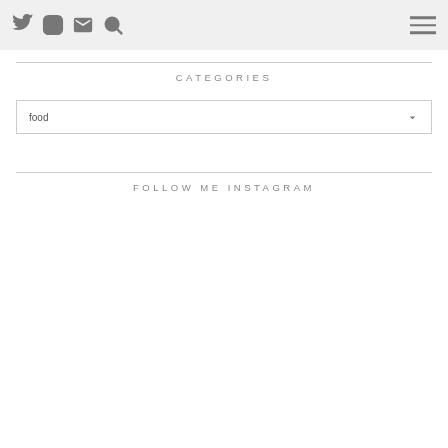Twitter, Instagram, Email, Search icons | Hamburger menu
CATEGORIES
food
FOLLOW ME INSTAGRAM